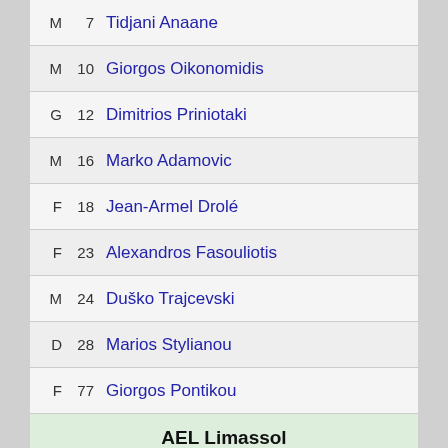M 7 Tidjani Anaane
M 10 Giorgos Oikonomidis
G 12 Dimitrios Priniotaki
M 16 Marko Adamovic
F 18 Jean-Armel Drolé
F 23 Alexandros Fasouliotis
M 24 Duško Trajcevski
D 28 Marios Stylianou
F 77 Giorgos Pontikou
AEL Limassol
4-3-3
G 25 Balázs Megyeri
D 27 Róbert Mazán
D 4 André Teixeira